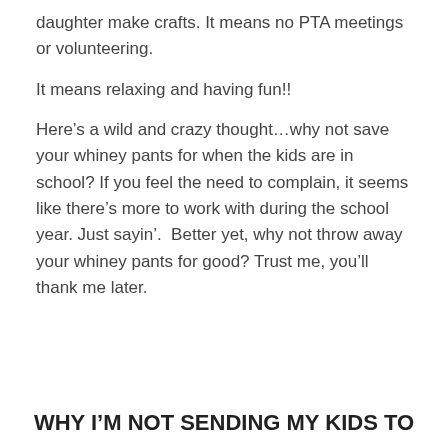daughter make crafts. It means no PTA meetings or volunteering.
It means relaxing and having fun!!
Here’s a wild and crazy thought…why not save your whiney pants for when the kids are in school? If you feel the need to complain, it seems like there’s more to work with during the school year. Just sayin’.  Better yet, why not throw away your whiney pants for good? Trust me, you’ll thank me later.
WHY I’M NOT SENDING MY KIDS TO